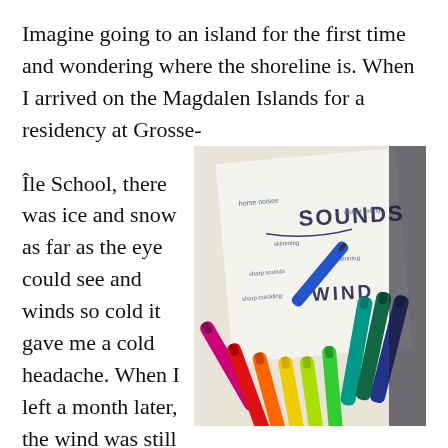Imagine going to an island for the first time and wondering where the shoreline is. When I arrived on the Magdalen Islands for a residency at Grosse-Île School, there was ice and snow as far as the eye could see and winds so cold it gave me a cold headache. When I left a month later, the wind was still blowing, waves were crashing on the beach and the community was buzzing with excitement in anticipation of the approaching fishing season. With thanks to A School Hosts an
[Figure (photo): A photograph of colorful markers (magenta, red, orange, yellow, green, teal, dark green, purple) laid on a white paper that has handwritten words including 'SOUNDS' and 'WIND' written on it, along with other smaller handwritten notes.]